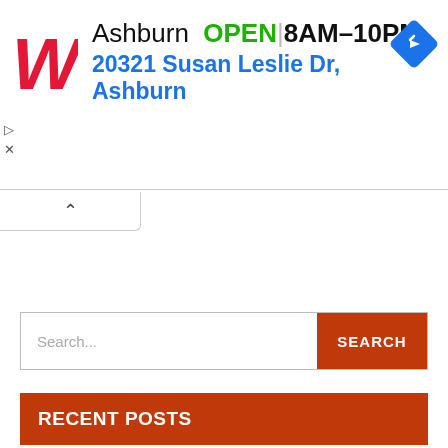[Figure (infographic): Walgreens advertisement banner: red cursive W logo, text 'Ashburn OPEN | 8AM–10PM' and '20321 Susan Leslie Dr, Ashburn' with a blue diamond navigation icon on the right. Small play and close button indicators on the left side.]
Search...
RECENT POSTS
ESIC Pune Recruitment 2022 – Apply Here For 04 Posts
Pimpri Chinchwad Mahanagarpalika (PCMC) Recruitment 2022 – Apply Now